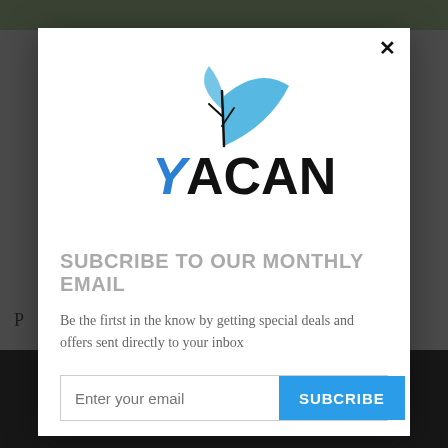[Figure (screenshot): Background webpage with dark overlay showing partial text 'P' and a dark bottom section]
[Figure (logo): Yacanna logo with blue and black text 'YACANNA' and stylized leaf/plant graphic above]
SUBCRIBE TO OUR MONTHLY EMAIL
Be the firtst in the know by getting special deals and offers sent directly to your inbox
Enter your email [input field] SUBCRIBE [button]